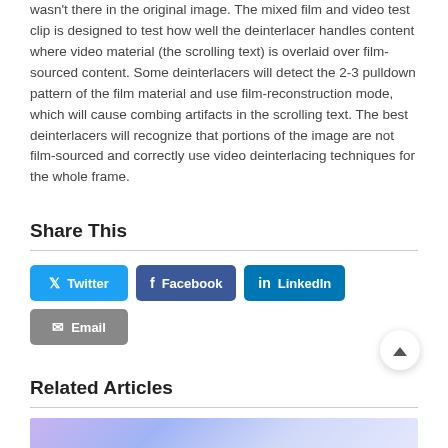wasn't there in the original image. The mixed film and video test clip is designed to test how well the deinterlacer handles content where video material (the scrolling text) is overlaid over film-sourced content. Some deinterlacers will detect the 2-3 pulldown pattern of the film material and use film-reconstruction mode, which will cause combing artifacts in the scrolling text. The best deinterlacers will recognize that portions of the image are not film-sourced and correctly use video deinterlacing techniques for the whole frame.
Share This
[Figure (infographic): Social share buttons: Twitter (blue), Facebook (dark blue), LinkedIn (blue), Email (gray)]
Related Articles
[Figure (photo): Blurred purple and blue gradient image serving as a related article thumbnail]